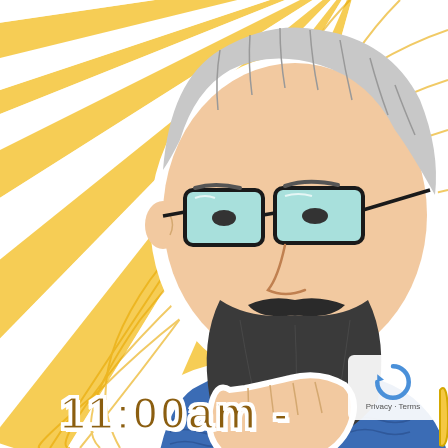[Figure (illustration): Cartoon/comic-style illustration of a bearded man with gray hair and teal-lens glasses, wearing a blue-green sweater, holding his hand to his chin in a thoughtful pose. Behind him is a swirling sunburst pattern in yellow, orange, and white radiating from the upper right. The figure has a white sticker-style outline border.]
11:00am -
Privacy · Terms